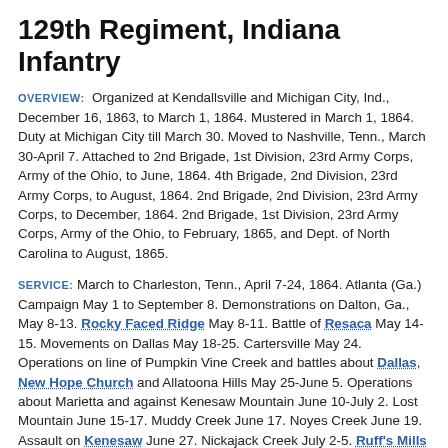129th Regiment, Indiana Infantry
OVERVIEW: Organized at Kendallsville and Michigan City, Ind., December 16, 1863, to March 1, 1864. Mustered in March 1, 1864. Duty at Michigan City till March 30. Moved to Nashville, Tenn., March 30-April 7. Attached to 2nd Brigade, 1st Division, 23rd Army Corps, Army of the Ohio, to June, 1864. 4th Brigade, 2nd Division, 23rd Army Corps, to August, 1864. 2nd Brigade, 2nd Division, 23rd Army Corps, to December, 1864. 2nd Brigade, 1st Division, 23rd Army Corps, Army of the Ohio, to February, 1865, and Dept. of North Carolina to August, 1865.
SERVICE: March to Charleston, Tenn., April 7-24, 1864. Atlanta (Ga.) Campaign May 1 to September 8. Demonstrations on Dalton, Ga., May 8-13. Rocky Faced Ridge May 8-11. Battle of Resaca May 14-15. Movements on Dallas May 18-25. Cartersville May 24. Operations on line of Pumpkin Vine Creek and battles about Dallas, New Hope Church and Allatoona Hills May 25-June 5. Operations about Marietta and against Kenesaw Mountain June 10-July 2. Lost Mountain June 15-17. Muddy Creek June 17. Noyes Creek June 19. Assault on Kenesaw June 27. Nickajack Creek July 2-5. Ruff's Mills July 3-4. Chattahoochie River July 5-17. Siege of Atlanta July 22-August 25. Utoy Creek August 5-7. Flank movement on Jonesboro August 25-30. Lovejoy Station September 2-6. Operations against Hood in North Georgia and North Alabama September 29-November 3. Nashville Campaign November-December. In front of Columbia November 24-27. Columbia Ford November 29. Battle of Franklin November 30. Battle of Nashville December 15-16. Pursuit of Hood to the Tennessee River December 17-28. At Clifton, Tenn., till January 15, 1865.